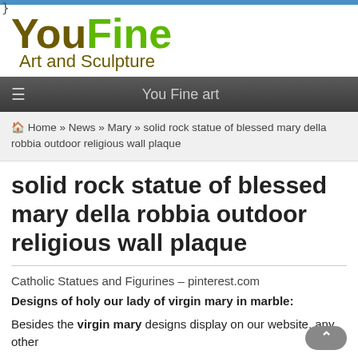}
[Figure (logo): YouFine Art and Sculpture logo — 'You' in dark olive/brown, 'Fine' in bright green, bold large text, subtitle 'Art and Sculpture' in olive below]
≡  You Fine art
🏠 Home » News » Mary » solid rock statue of blessed mary della robbia outdoor religious wall plaque
solid rock statue of blessed mary della robbia outdoor religious wall plaque
Catholic Statues and Figurines – pinterest.com
Designs of holy our lady of virgin mary in marble:
Besides the virgin mary designs display on our website, any other